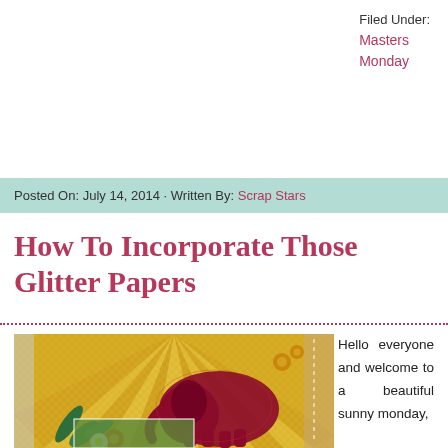Filed Under:
Masters
Monday
Posted On: July 14, 2014 · Written By: Scrap Stars
How To Incorporate Those Glitter Papers
[Figure (photo): A scrapbooking layout featuring a glitter red elephant silhouette on a yellow sunburst background with tropical flowers and a photo inset.]
Hello everyone and welcome to a beautiful sunny monday,